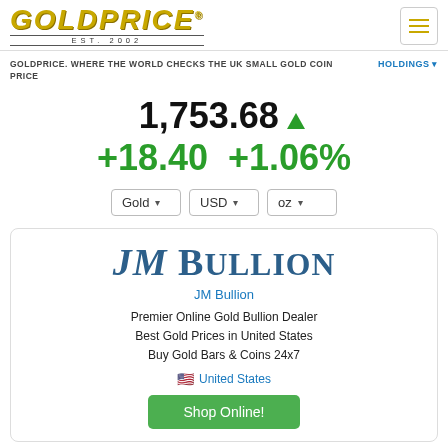GOLDPRICE® EST. 2002
GOLDPRICE. WHERE THE WORLD CHECKS THE UK SMALL GOLD COIN PRICE
HOLDINGS
1,753.68 ▲ +18.40 +1.06%
Gold | USD | oz
[Figure (logo): JM Bullion logo — large serif text reading 'JM BULLION' in navy/steel blue]
JM Bullion
Premier Online Gold Bullion Dealer
Best Gold Prices in United States
Buy Gold Bars & Coins 24x7
🇺🇸 United States
Shop Online!